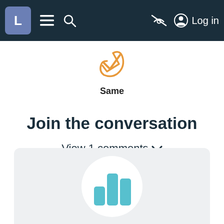L  ≡  🔍  🚫  Log in
[Figure (illustration): Orange checkmark with hand gesture icon labeled 'Same']
Join the conversation
View 1 comments ✓
Log in or create an account to comment.
[Figure (illustration): Bar chart icon in a white circle on a light grey card background, partially visible at bottom of page]